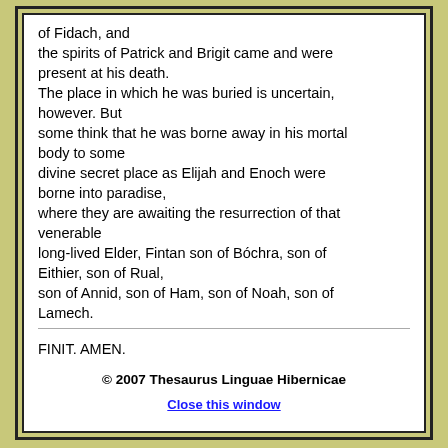of Fidach, and the spirits of Patrick and Brigit came and were present at his death. The place in which he was buried is uncertain, however. But some think that he was borne away in his mortal body to some divine secret place as Elijah and Enoch were borne into paradise, where they are awaiting the resurrection of that venerable long-lived Elder, Fintan son of Bóchra, son of Eithier, son of Rual, son of Annid, son of Ham, son of Noah, son of Lamech.
FINIT. AMEN.
© 2007 Thesaurus Linguae Hibernicae
Close this window